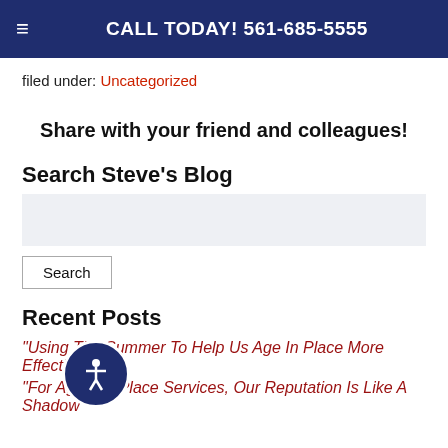CALL TODAY! 561-685-5555
filed under: Uncategorized
Share with your friend and colleagues!
Search Steve's Blog
Recent Posts
"Using The Summer To Help Us Age In Place More Effectively"
"For Aging In Place Services, Our Reputation Is Like A Shadow"